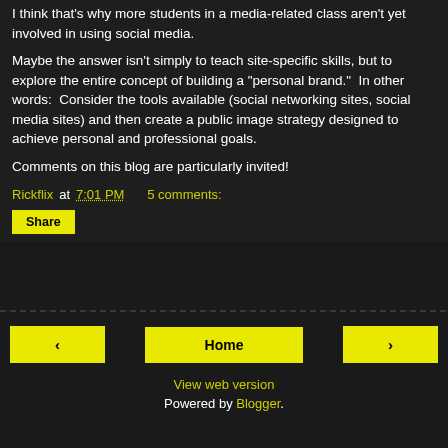I think that's why more students in a media-related class aren't yet involved in using social media.
Maybe the answer isn't simply to teach site-specific skills, but to explore the entire concept of building a "personal brand."  In other words:  Consider the tools available (social networking sites, social media sites) and then create a public image strategy designed to achieve personal and professional goals.
Comments on this blog are particularly invited!
Rickflix at 7:01 PM    5 comments:
Share
Home | View web version | Powered by Blogger.